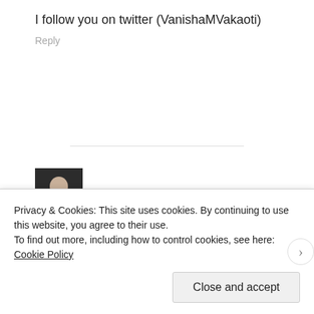I follow you on twitter (VanishaMVakaoti)
Reply
[Figure (photo): Small avatar photo of a person, dark background]
Vanisha @ Vanisha's Life In...Australia · January 11, 2012
I follow you on Twitter...
Privacy & Cookies: This site uses cookies. By continuing to use this website, you agree to their use.
To find out more, including how to control cookies, see here: Cookie Policy
Close and accept